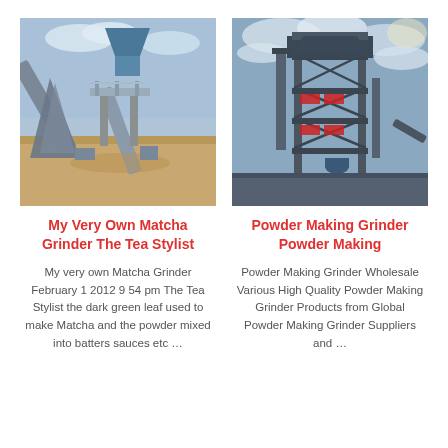[Figure (photo): Industrial conveyor belt and screening plant machinery on a sandy construction site under a blue sky]
My Very Own Matcha Grinder The Tea Stylist
My very own Matcha Grinder February 1 2012 9 54 pm The Tea Stylist the dark green leaf used to make Matcha and the powder mixed into batters sauces etc …
[Figure (photo): Tall industrial powder making grinder tower structure with metal framework under a cloudy sky]
Powder Making Grinder Powder Making
Powder Making Grinder Wholesale Various High Quality Powder Making Grinder Products from Global Powder Making Grinder Suppliers and …